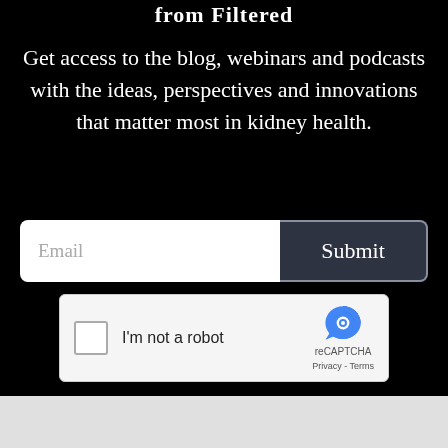from Filtered
Get access to the blog, webinars and podcasts with the ideas, perspectives and innovations that matter most in kidney health.
[Figure (screenshot): Email input field with placeholder text 'Email' and a dark 'Submit' button alongside a reCAPTCHA widget with checkbox and 'I'm not a robot' label]